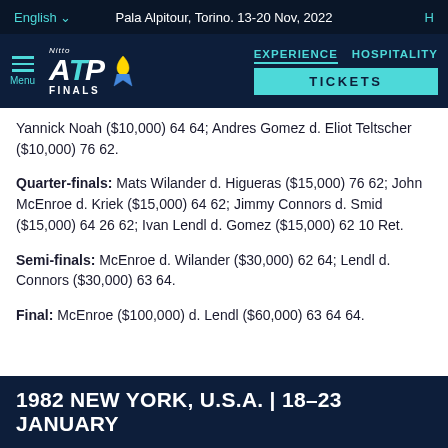English | Pala Alpitour, Torino. 13-20 Nov, 2022 | H...
[Figure (screenshot): Nitto ATP Finals navigation bar with logo, ribbon, EXPERIENCE/HOSPITALITY links and TICKETS button]
Yannick Noah ($10,000) 64 64; Andres Gomez d. Eliot Teltscher ($10,000) 76 62.
Quarter-finals: Mats Wilander d. Higueras ($15,000) 76 62; John McEnroe d. Kriek ($15,000) 64 62; Jimmy Connors d. Smid ($15,000) 64 26 62; Ivan Lendl d. Gomez ($15,000) 62 10 Ret.
Semi-finals: McEnroe d. Wilander ($30,000) 62 64; Lendl d. Connors ($30,000) 63 64.
Final: McEnroe ($100,000) d. Lendl ($60,000) 63 64 64.
1982 NEW YORK, U.S.A. | 18-23 JANUARY